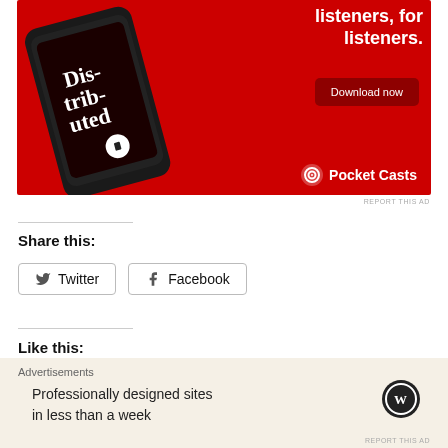[Figure (photo): Pocket Casts app advertisement on red background showing a smartphone with a podcast app open displaying 'Dis-tri-buted', with text 'listeners, for listeners.' and a 'Download now' button, Pocket Casts logo at bottom right]
REPORT THIS AD
Share this:
Twitter
Facebook
Like this:
Advertisements
Professionally designed sites in less than a week